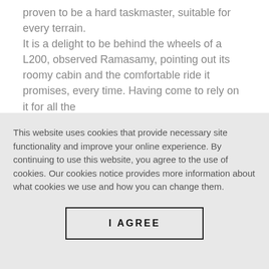proven to be a hard taskmaster, suitable for every terrain. It is a delight to be behind the wheels of a L200, observed Ramasamy, pointing out its roomy cabin and the comfortable ride it promises, every time. Having come to rely on it for all the [cut off]
This website uses cookies that provide necessary site functionality and improve your online experience. By continuing to use this website, you agree to the use of cookies. Our cookies notice provides more information about what cookies we use and how you can change them.
I AGREE